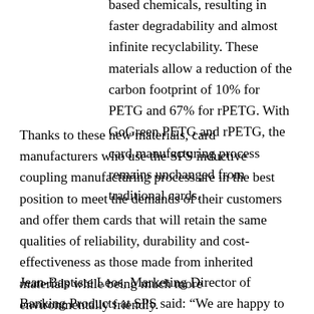based chemicals, resulting in faster degradability and almost infinite recyclability. These materials allow a reduction of the carbon footprint of 10% for PETG and 67% for rPETG. With GoGreen PETG and rPETG, the card manufacturing process remains unchanged from traditional cards.
Thanks to these new materials, card manufacturers who use the SPS inductive coupling manufacturing process are in the best position to meet the demands of their customers and offer them cards that will retain the same qualities of reliability, durability and cost-effectiveness as those made from inherited materials while being much more environmentally friendly.
Jean-Baptiste Leos, Marketing Director of Banking Products at SPS said: “We are happy to be ever more in tune with the concerns and demands of the company and, at the same time, to continue to provide the best products to the manufacturers of cards. . With our new GoGreen S-LAM â„¢ line, we are ensuring that card suppliers can meet all market requirements while